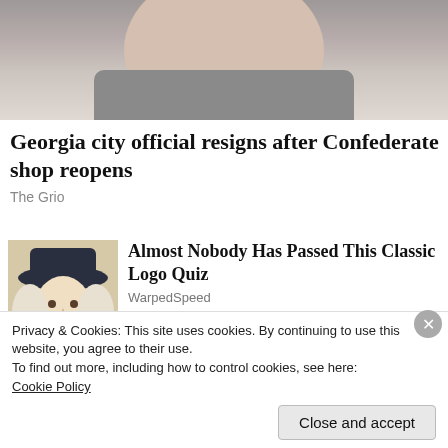[Figure (photo): Partial photo of a man's face (bottom half) wearing a suit jacket, cropped at top of page]
Georgia city official resigns after Confederate shop reopens
The Grio
[Figure (illustration): Illustrated portrait of a colonial-era figure wearing a wide-brimmed hat and white cravat (similar to Quaker Oats style logo)]
Almost Nobody Has Passed This Classic Logo Quiz
WarpedSpeed
[Figure (photo): Partially visible thumbnail image, light blue-gray tones]
Capitol Music drops virtual rapper FN Meka
Privacy & Cookies: This site uses cookies. By continuing to use this website, you agree to their use.
To find out more, including how to control cookies, see here: Cookie Policy
Close and accept